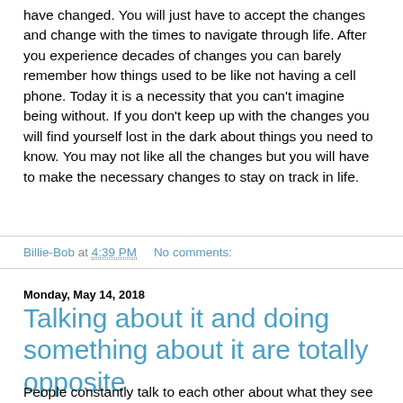have changed. You will just have to accept the changes and change with the times to navigate through life. After you experience decades of changes you can barely remember how things used to be like not having a cell phone. Today it is a necessity that you can't imagine being without. If you don't keep up with the changes you will find yourself lost in the dark about things you need to know. You may not like all the changes but you will have to make the necessary changes to stay on track in life.
Billie-Bob at 4:39 PM   No comments:
Monday, May 14, 2018
Talking about it and doing something about it are totally opposite
People constantly talk to each other about what they see as